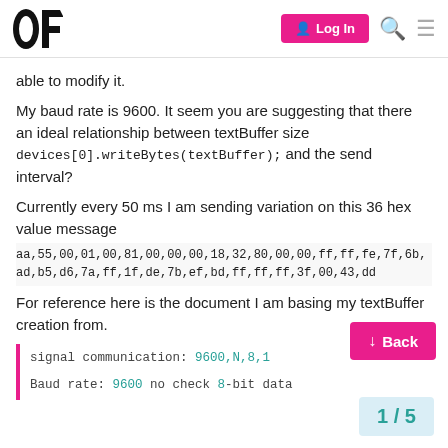OF | Log In [search] [menu]
able to modify it.
My baud rate is 9600. It seem you are suggesting that there an ideal relationship between textBuffer size devices[0].writeBytes(textBuffer); and the send interval?
Currently every 50 ms I am sending variation on this 36 hex value message
aa,55,00,01,00,81,00,00,00,18,32,80,00,00,ff,ff,fe,7f,6b,ad,b5,d6,7a,ff,1f,de,7b,ef,bd,ff,ff,ff,3f,00,43,dd
For reference here is the document I am basing my textBuffer creation from.
signal communication: 9600,N,8,1
Baud rate: 9600 no check 8-bit data